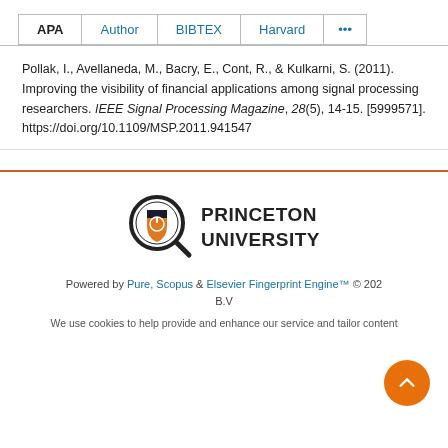APA | Author | BIBTEX | Harvard | ...
Pollak, I., Avellaneda, M., Bacry, E., Cont, R., & Kulkarni, S. (2011). Improving the visibility of financial applications among signal processing researchers. IEEE Signal Processing Magazine, 28(5), 14-15. [5999571]. https://doi.org/10.1109/MSP.2011.941547
[Figure (logo): Princeton University logo with magnifying glass icon and text PRINCETON UNIVERSITY]
Powered by Pure, Scopus & Elsevier Fingerprint Engine™ © 202... B.V
We use cookies to help provide and enhance our service and tailor content.